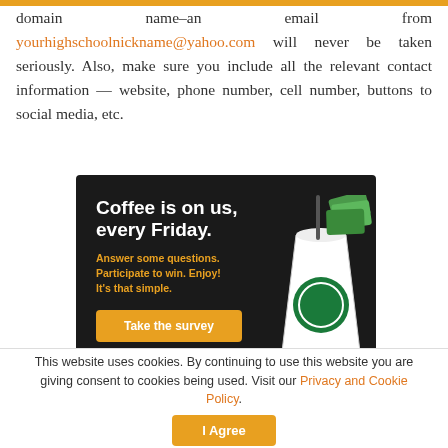domain name–an email from yourhighschoolnickname@yahoo.com will never be taken seriously. Also, make sure you include all the relevant contact information — website, phone number, cell number, buttons to social media, etc.
[Figure (infographic): Advertisement for a Starbucks survey promotion. Dark background with white bold text 'Coffee is on us, every Friday.' Orange text: 'Answer some questions. Participate to win. Enjoy! It's that simple.' Orange button labeled 'Take the survey'. Right side shows illustrated Starbucks cup and gift cards.]
This website uses cookies. By continuing to use this website you are giving consent to cookies being used. Visit our Privacy and Cookie Policy.